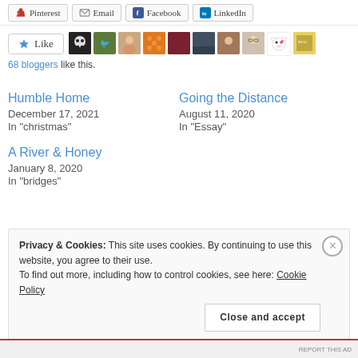[Figure (screenshot): Social share buttons: Pinterest, Email, Facebook, LinkedIn]
[Figure (screenshot): Like button with star icon and row of blogger avatars]
68 bloggers like this.
Humble Home
December 17, 2021
In "christmas"
Going the Distance
August 11, 2020
In "Essay"
A River & Honey
January 8, 2020
In "bridges"
Privacy & Cookies: This site uses cookies. By continuing to use this website, you agree to their use.
To find out more, including how to control cookies, see here: Cookie Policy
Close and accept